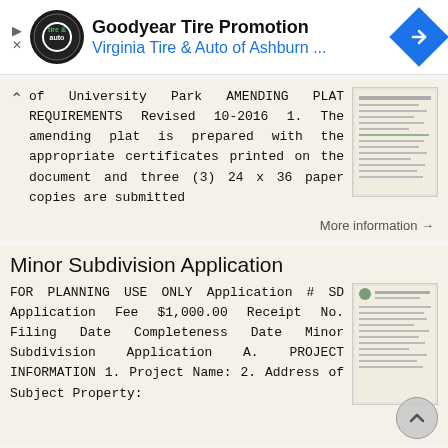[Figure (screenshot): Goodyear Tire Promotion advertisement banner with Virginia Tire & Auto of Ashburn logo and navigation arrow icon]
of University Park AMENDING PLAT REQUIREMENTS Revised 10-2016 1. The amending plat is prepared with the appropriate certificates printed on the document and three (3) 24 x 36 paper copies are submitted
More information →
Minor Subdivision Application
FOR PLANNING USE ONLY Application # SD Application Fee $1,000.00 Receipt No. Filing Date Completeness Date Minor Subdivision Application A. PROJECT INFORMATION 1. Project Name: 2. Address of Subject Property:
More information →